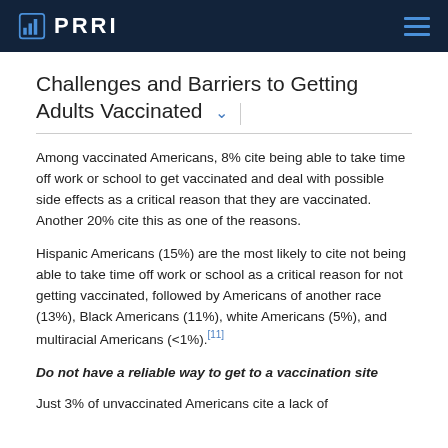PRRI
Challenges and Barriers to Getting Adults Vaccinated
Among vaccinated Americans, 8% cite being able to take time off work or school to get vaccinated and deal with possible side effects as a critical reason that they are vaccinated. Another 20% cite this as one of the reasons.
Hispanic Americans (15%) are the most likely to cite not being able to take time off work or school as a critical reason for not getting vaccinated, followed by Americans of another race (13%), Black Americans (11%), white Americans (5%), and multiracial Americans (<1%).[11]
Do not have a reliable way to get to a vaccination site
Just 3% of unvaccinated Americans cite a lack of